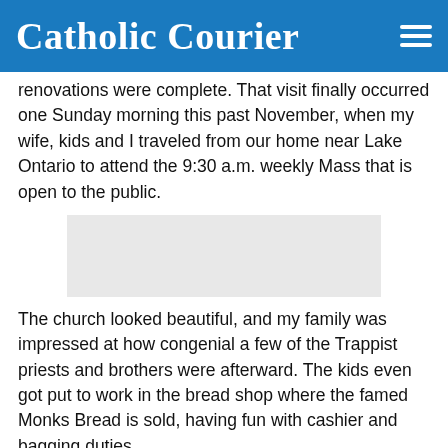Catholic Courier
renovations were complete. That visit finally occurred one Sunday morning this past November, when my wife, kids and I traveled from our home near Lake Ontario to attend the 9:30 a.m. weekly Mass that is open to the public.
[Figure (photo): Placeholder/blurred image block]
The church looked beautiful, and my family was impressed at how congenial a few of the Trappist priests and brothers were afterward. The kids even got put to work in the bread shop where the famed Monks Bread is sold, having fun with cashier and bagging duties.
Catherine, now almost 11, and her brothers, Andrew, 14, and Matthew, 12, all say they’re eager to go back — which is a big deal to me, since their faith journeys are quickly moving toward adulthood.
Other deleted at this all-new school, at the family it and...